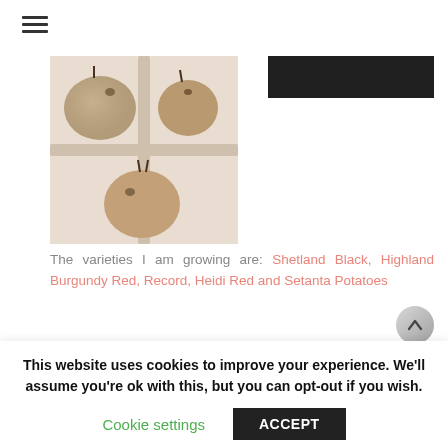[Figure (photo): Hamburger menu icon (three horizontal lines) at top left]
[Figure (photo): Potato seed tubers in an egg carton tray, chitting (sprouting)]
[Figure (photo): Partial dark image at top right, cropped]
The varieties I am growing are: Shetland Black, Highland Burgundy Red, Record, Heidi Red and Setanta Potatoes
Over the series of blogs, I???ll take you through
This website uses cookies to improve your experience. We'll assume you're ok with this, but you can opt-out if you wish.
Cookie settings
ACCEPT